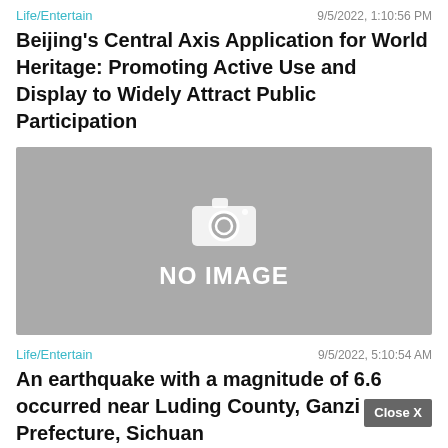Life/Entertain    9/5/2022, 1:10:56 PM
Beijing's Central Axis Application for World Heritage: Promoting Active Use and Display to Widely Attract Public Participation
[Figure (photo): No image placeholder with camera icon and 'NO IMAGE' text on grey background]
Life/Entertain    9/5/2022, 5:10:54 AM
An earthquake with a magnitude of 6.6 occurred near Luding County, Ganzi Prefecture, Sichuan